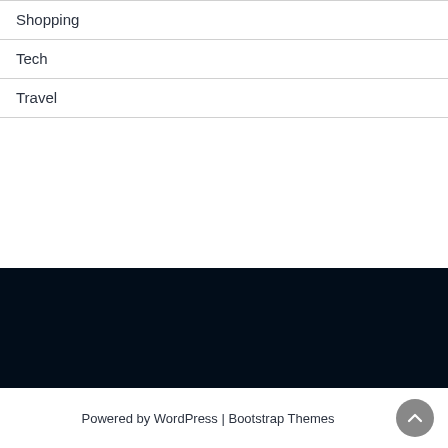Shopping
Tech
Travel
Powered by WordPress | Bootstrap Themes